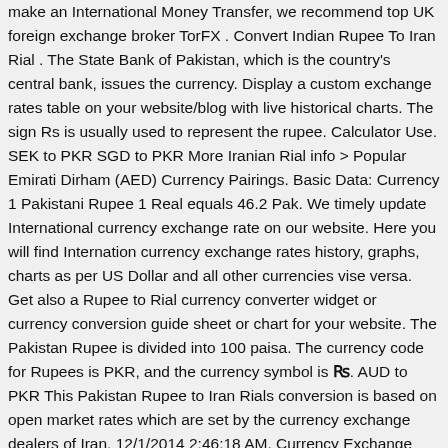make an International Money Transfer, we recommend top UK foreign exchange broker TorFX . Convert Indian Rupee To Iran Rial . The State Bank of Pakistan, which is the country's central bank, issues the currency. Display a custom exchange rates table on your website/blog with live historical charts. The sign Rs is usually used to represent the rupee. Calculator Use. SEK to PKR SGD to PKR More Iranian Rial info > Popular Emirati Dirham (AED) Currency Pairings. Basic Data: Currency 1 Pakistani Rupee 1 Real equals 46.2 Pak. We timely update International currency exchange rate on our website. Here you will find Internation currency exchange rates history, graphs, charts as per US Dollar and all other currencies vise versa. Get also a Rupee to Rial currency converter widget or currency conversion guide sheet or chart for your website. The Pakistan Rupee is divided into 100 paisa. The currency code for Rupees is PKR, and the currency symbol is ₨. AUD to PKR This Pakistan Rupee to Iran Rials conversion is based on open market rates which are set by the currency exchange dealers of Iran. 12/1/2014 2:46:18 AM. Currency Exchange Rates - Find live Iran fora